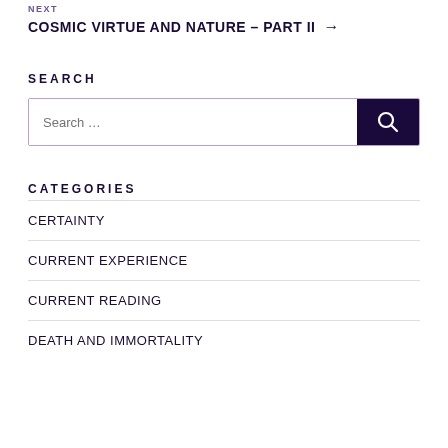NEXT
COSMIC VIRTUE AND NATURE – PART II →
SEARCH
Search …
CATEGORIES
CERTAINTY
CURRENT EXPERIENCE
CURRENT READING
DEATH AND IMMORTALITY